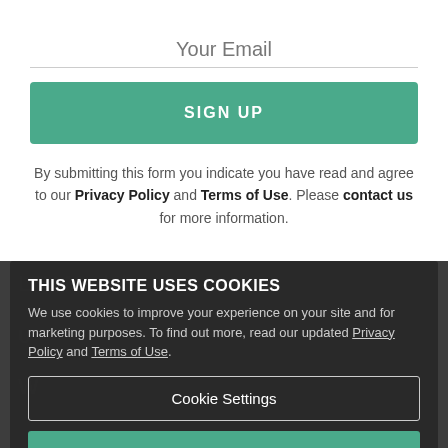Your Email
[Figure (other): Green SIGN UP button]
By submitting this form you indicate you have read and agree to our Privacy Policy and Terms of Use. Please contact us for more information.
THIS WEBSITE USES COOKIES
We use cookies to improve your experience on your site and for marketing purposes. To find out more, read our updated Privacy Policy and Terms of Use.
Cookie Settings
Accept All Cookies
Shopping Tools